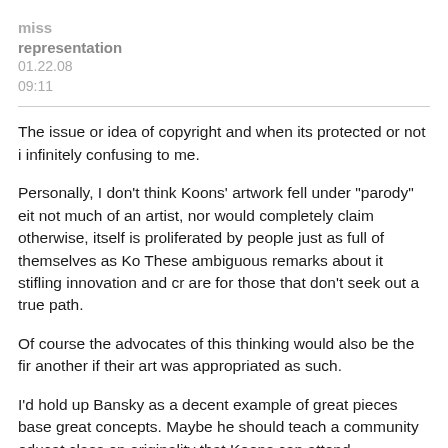miss representation
01.22.08
09:11
The issue or idea of copyright and when its protected or not is infinitely confusing to me.
Personally, I don't think Koons' artwork fell under "parody" either. I'm not much of an artist, nor would completely claim otherwise, but copyright itself is proliferated by people just as full of themselves as Koons himself. These ambiguous remarks about it stifling innovation and creativity are for those that don't seek out a true path.
Of course the advocates of this thinking would also be the first to cry another if their art was appropriated as such.
I'd hold up Bansky as a decent example of great pieces based on great concepts. Maybe he should teach a community education class on originality that Koons can attend.